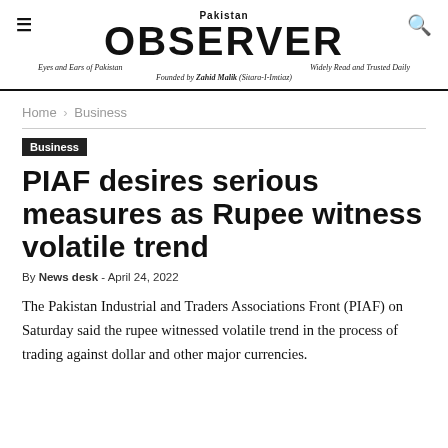Pakistan OBSERVER — Eyes and Ears of Pakistan | Widely Read and Trusted Daily | Founded by Zahid Malik (Sitara-I-Imtiaz)
Home › Business
Business
PIAF desires serious measures as Rupee witness volatile trend
By News desk - April 24, 2022
The Pakistan Industrial and Traders Associations Front (PIAF) on Saturday said the rupee witnessed volatile trend in the process of trading against dollar and other major currencies.